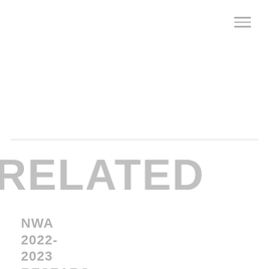[Figure (other): Hamburger menu icon (three horizontal lines) in the top-right corner]
RELATED
NWA 2022-2023 RESEARCH